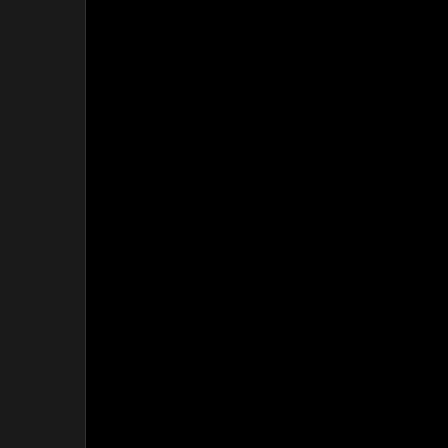[Figure (screenshot): Dark blog page screenshot with black background and a narrow dark sidebar on the left. Right portion shows blog content.]
Cheers,
Dean
Posted by Dean Colli
Trump Re
[Figure (other): Row of social share icons: email, blog, twitter, facebook, pinterest]
Lol - do you think t collapse?